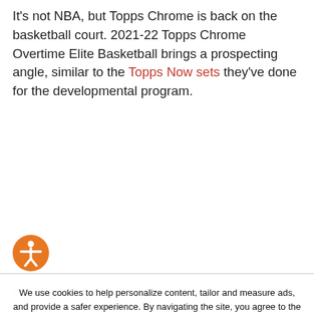It's not NBA, but Topps Chrome is back on the basketball court. 2021-22 Topps Chrome Overtime Elite Basketball brings a prospecting angle, similar to the Topps Now sets they've done for the developmental program.
[Figure (illustration): Orange circular accessibility icon with a white person figure with outstretched arms]
We use cookies to help personalize content, tailor and measure ads, and provide a safer experience. By navigating the site, you agree to the use of cookies to collect information. Read our Cookie Policy.
Accept & Close